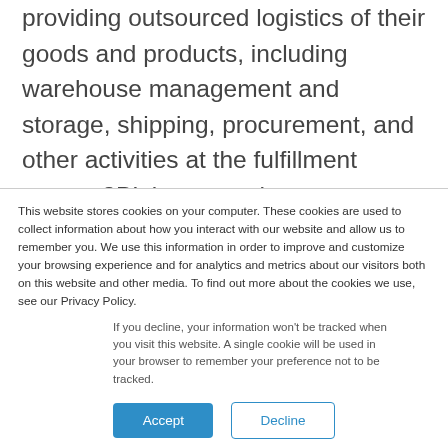providing outsourced logistics of their goods and products, including warehouse management and storage, shipping, procurement, and other activities at the fulfillment center. 3PL is a term that covers a broad range of services and can be a single provider, such as transportation or storing
This website stores cookies on your computer. These cookies are used to collect information about how you interact with our website and allow us to remember you. We use this information in order to improve and customize your browsing experience and for analytics and metrics about our visitors both on this website and other media. To find out more about the cookies we use, see our Privacy Policy.
If you decline, your information won't be tracked when you visit this website. A single cookie will be used in your browser to remember your preference not to be tracked.
Accept
Decline